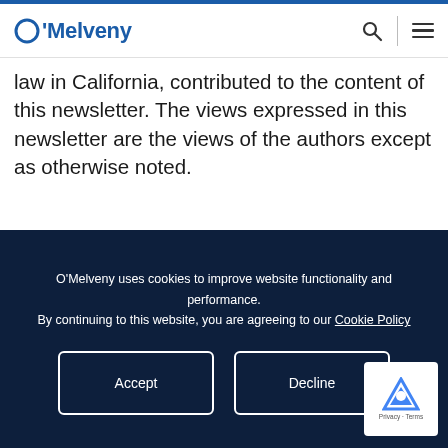O'Melveny
law in California, contributed to the content of this newsletter. The views expressed in this newsletter are the views of the authors except as otherwise noted.

Portions of this communication may contain attorney advertising. Prior results do not guarantee a similar outcome. Please direct all
O'Melveny uses cookies to improve website functionality and performance. By continuing to this website, you are agreeing to our Cookie Policy
Accept
Decline